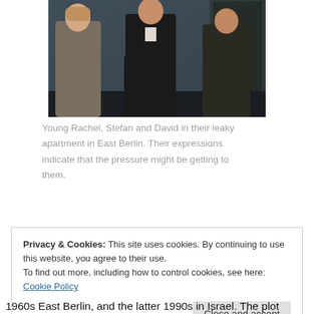[Figure (photo): Three people — a woman on the left (young Rachel) and two men — standing in a dim hallway or apartment with a radiator, in a tense scene from a film.]
Young Rachel, Stefan and David in their leaky apartment in East Berlin. Their expressions indicate that the pressure might be getting to them.
Privacy & Cookies: This site uses cookies. By continuing to use this website, you agree to their use.
To find out more, including how to control cookies, see here: Cookie Policy
1960s East Berlin, and the latter 1990s in Israel. The plot